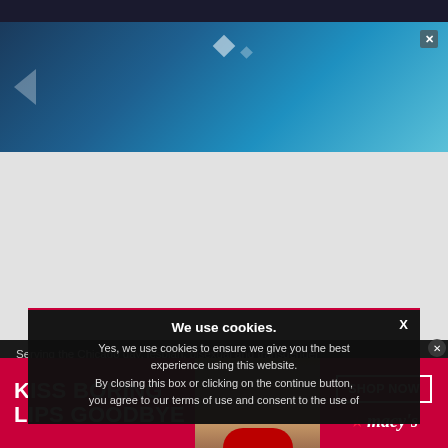[Figure (screenshot): Dark top browser bar]
[Figure (screenshot): Blue gradient banner advertisement with diamond shapes and close button]
[Figure (screenshot): Light grey empty content area]
Serving the Chicago gay, lesbian, bisexual and transgender communities. ©Copyright 2022 GoPride Networks. All rights
GoPride.com™  Know Chicago™  Chicago Everyday™  Lou...
We use cookies.
Yes, we use cookies to ensure we give you the best experience using this website.
By closing this box or clicking on the continue button, you agree to our terms of use and consent to the use of
[Figure (screenshot): Macy's advertisement: KISS BORING LIPS GOODBYE with woman's face and SHOP NOW button and Macy's star logo]